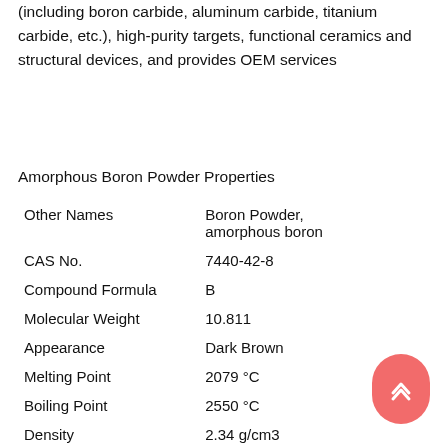(including boron carbide, aluminum carbide, titanium carbide, etc.), high-purity targets, functional ceramics and structural devices, and provides OEM services
Amorphous Boron Powder Properties
| Property | Value |
| --- | --- |
| Other Names | Boron Powder, amorphous boron |
| CAS No. | 7440-42-8 |
| Compound Formula | B |
| Molecular Weight | 10.811 |
| Appearance | Dark Brown |
| Melting Point | 2079 °C |
| Boiling Point | 2550 °C |
| Density | 2.34 g/cm3 |
| Solubility in H2O | N/A |
| Electrical Resistivity | 1.8 x 1012 microhm-cm @ 0 °C |